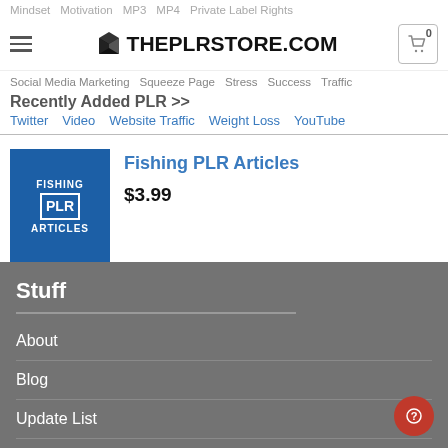Mindset  Motivation  MP3  MP4  Private Label Rights
[Figure (logo): ThePLRStore.com logo with cube icon and hamburger menu, cart icon showing 0]
Relationship  Social Media Marketing  Squeeze Page  Stress  Success  Traffic  Twitter  Video  Website Traffic  Weight Loss  YouTube
Recently Added PLR >>
Fishing PLR Articles
$3.99
Stuff
About
Blog
Update List
Free Stuff